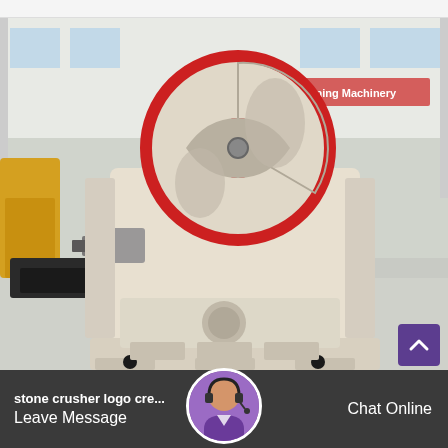[Figure (photo): A large jaw crusher machine in cream/white color with red accents on the flywheel, photographed in an industrial factory warehouse setting. The machine has a prominent circular flywheel with red trim at the top, a heavy-duty body, and sits on a base with mounting feet. Chinese signage visible in background reading 'Leading Mining Machinery'.]
stone crusher logo cre...
Leave Message
Chat Online